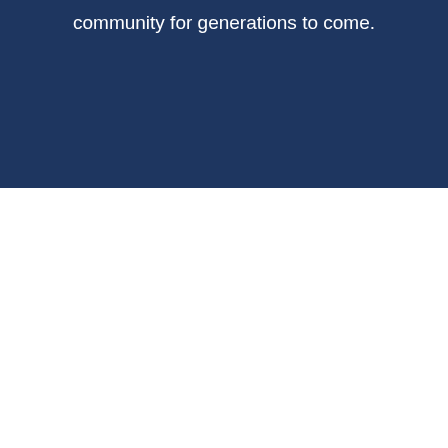community for generations to come.